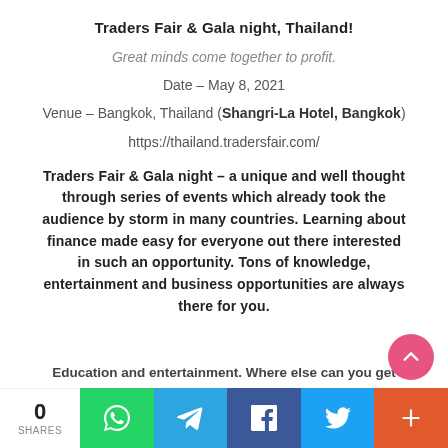Traders Fair & Gala night, Thailand!
Great minds come together to profit.
Date – May 8, 2021
Venue – Bangkok, Thailand (Shangri-La Hotel, Bangkok)
https://thailand.tradersfair.com/
Traders Fair & Gala night – a unique and well thought through series of events which already took the audience by storm in many countries. Learning about finance made easy for everyone out there interested in such an opportunity. Tons of knowledge, entertainment and business opportunities are always there for you.
Education and entertainment. Where else can you get